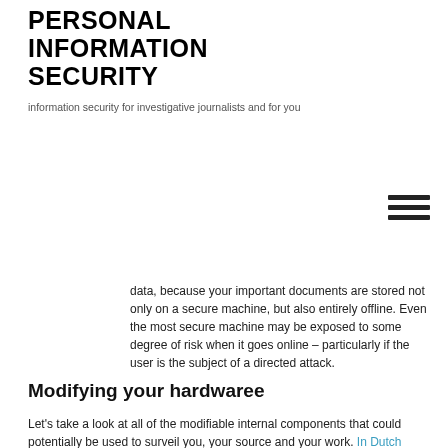PERSONAL INFORMATION SECURITY
information security for investigative journalists and for you
data, because your important documents are stored not only on a secure machine, but also entirely offline. Even the most secure machine may be exposed to some degree of risk when it goes online – particularly if the user is the subject of a directed attack.
Modifying your hardwaree
Let's take a look at all of the modifiable internal components that could potentially be used to surveil you, your source and your work. In Dutch some tips of Arjen Kamphuis - Bright TV
[Figure (screenshot): Video thumbnail showing Bright TV logo (blue circle with white B letter) and title 'Wat moet je doen om je laptop echt…' with three-dot menu, with a UK flag overlay in bottom-left corner]